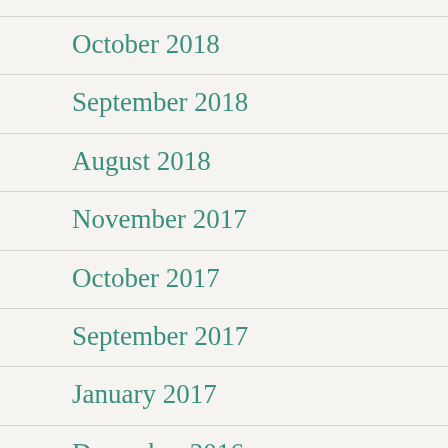October 2018
September 2018
August 2018
November 2017
October 2017
September 2017
January 2017
December 2016